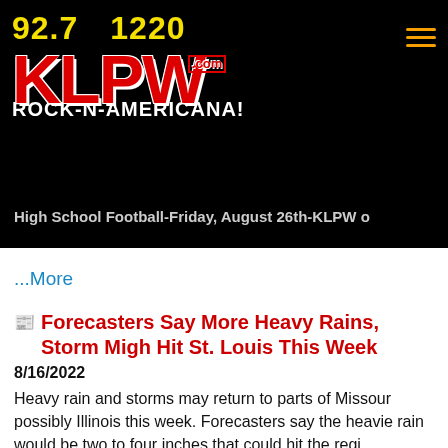[Figure (logo): KLPW radio station logo with 92.7 and 1220 frequencies, red KLPW letters, .com label, and ROCK-N-AMERICANA! slogan on black background]
High School Football-Friday, August 26th-KLPW o
...More
Forecasters Say More Heavy Rains, Storm Migh Hit St. Louis This Week
8/16/2022
Heavy rain and storms may return to parts of Missour possibly Illinois this week. Forecasters say the heavie rain would be two to four inches that could hit the regi